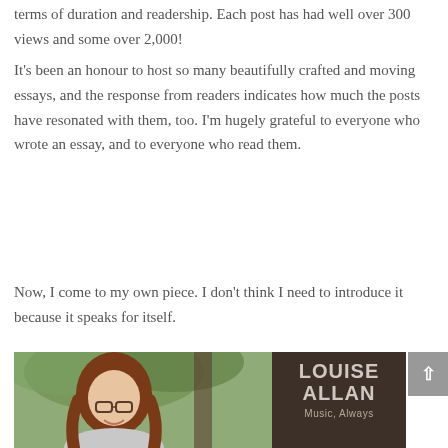terms of duration and readership. Each post has had well over 300 views and some over 2,000!
It’s been an honour to host so many beautifully crafted and moving essays, and the response from readers indicates how much the posts have resonated with them, too. I’m hugely grateful to everyone who wrote an essay, and to everyone who read them.
Now, I come to my own piece. I don’t think I need to introduce it because it speaks for itself.
[Figure (photo): Portrait photo of a woman with long auburn hair wearing glasses, smiling, seated outdoors near a tree. Beside the photo is a dark brown panel with the text 'LOUISE ALLAN' and 'Music, Always' in light colored text.]